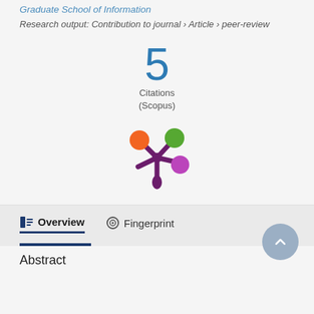Graduate School of Information
Research output: Contribution to journal › Article › peer-review
[Figure (infographic): Large blue number 5 with 'Citations (Scopus)' label below it]
[Figure (logo): Altmetric donut logo — a purple asterisk-like mark with orange, green, and purple colored circles at the tips]
Overview   Fingerprint
Abstract